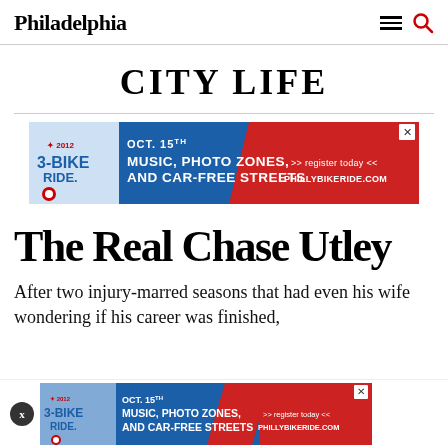Philadelphia
CITY LIFE
[Figure (infographic): Advertisement banner for Philly Bike Ride: OCT. 15TH MUSIC, PHOTO ZONES, AND CAR-FREE STREETS >> register today << PHILLYBIKERIDE.COM]
The Real Chase Utley
After two injury-marred seasons that had even his wife wondering if his career was finished,
[Figure (infographic): Bottom advertisement banner for Philly Bike Ride: OCT. 15TH MUSIC, PHOTO ZONES, AND CAR-FREE STREETS >> register today << PHILLYBIKERIDE.COM]